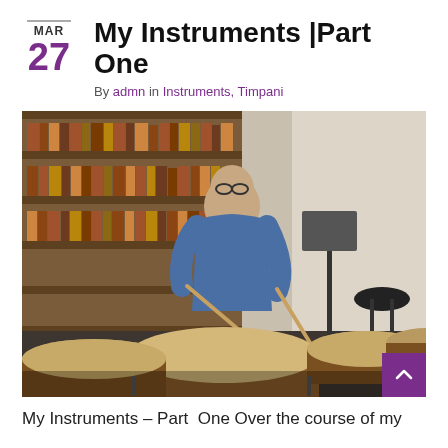My Instruments | Part One
By admn in Instruments, Timpani
[Figure (photo): A man wearing glasses and a blue sweater playing timpani drums in a room with bookshelves filled with books in the background. Several large timpani drums are visible in the foreground.]
My Instruments – Part  One Over the course of my